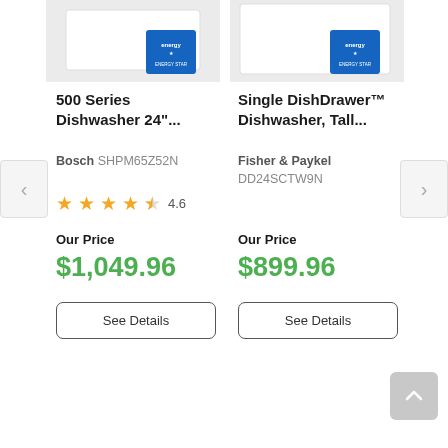[Figure (screenshot): Product listing page showing two dishwashers side by side with Energy Star badges, ratings, prices, and See Details buttons]
500 Series Dishwasher 24"...
Bosch SHPM65Z52N
4.6
Our Price
$1,049.96
See Details
Single DishDrawer™ Dishwasher, Tall...
Fisher & Paykel DD24SCTW9N
Our Price
$899.96
See Details